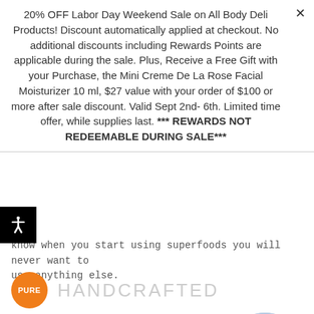20% OFF Labor Day Weekend Sale on All Body Deli Products! Discount automatically applied at checkout. No additional discounts including Rewards Points are applicable during the sale. Plus, Receive a Free Gift with your Purchase, the Mini Creme De La Rose Facial Moisturizer 10 ml, $27 value with your order of $100 or more after sale discount. Valid Sept 2nd- 6th. Limited time offer, while supplies last. *** REWARDS NOT REDEEMABLE DURING SALE***
know when you start using superfoods you will never want to use anything else.
[Figure (other): Orange circular badge with text PURE]
HANDCRAFTED
We modeled The Body Deli after a juice bar. Our products are made by hand everyday to provide the absolute finest and most
[Figure (photo): Circular cropped photo of a person's hands working, wearing blue clothing, with white bowl/container]